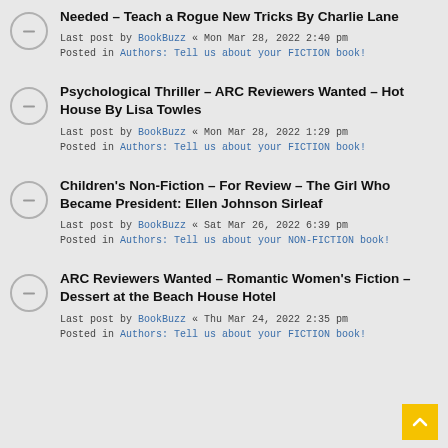Needed – Teach a Rogue New Tricks By Charlie Lane
Last post by BookBuzz « Mon Mar 28, 2022 2:40 pm
Posted in Authors: Tell us about your FICTION book!
Psychological Thriller – ARC Reviewers Wanted – Hot House By Lisa Towles
Last post by BookBuzz « Mon Mar 28, 2022 1:29 pm
Posted in Authors: Tell us about your FICTION book!
Children's Non-Fiction – For Review – The Girl Who Became President: Ellen Johnson Sirleaf
Last post by BookBuzz « Sat Mar 26, 2022 6:39 pm
Posted in Authors: Tell us about your NON-FICTION book!
ARC Reviewers Wanted – Romantic Women's Fiction – Dessert at the Beach House Hotel
Last post by BookBuzz « Thu Mar 24, 2022 2:35 pm
Posted in Authors: Tell us about your FICTION book!